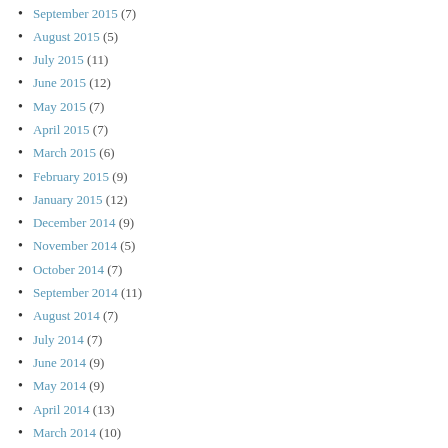September 2015 (7)
August 2015 (5)
July 2015 (11)
June 2015 (12)
May 2015 (7)
April 2015 (7)
March 2015 (6)
February 2015 (9)
January 2015 (12)
December 2014 (9)
November 2014 (5)
October 2014 (7)
September 2014 (11)
August 2014 (7)
July 2014 (7)
June 2014 (9)
May 2014 (9)
April 2014 (13)
March 2014 (10)
February 2014 (6)
January 2014 (9)
December 2013 (6)
November 2013 (4)
October 2013 (5)
September 2013 (5)
August 2013 (11)
July 2013 (8)